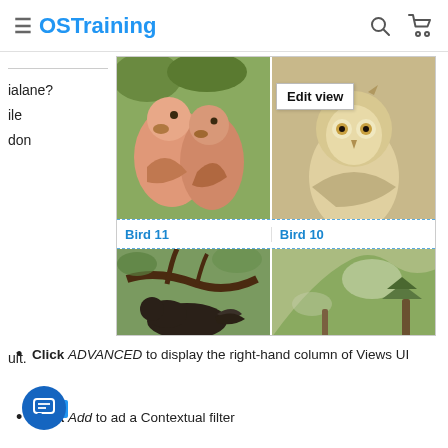OSTraining
ialane?
ile
don
[Figure (screenshot): Screenshot of a Drupal Views UI interface showing a bird image gallery with two parrots (Bird 11) and an owl (Bird 10), with a red arrow pointing to an 'Edit view' button/link. Below shows another row of bird images (forest/nature scenes).]
uit.
Click ADVANCED to display the right-hand column of Views UI
Click Add to ad a Contextual filter